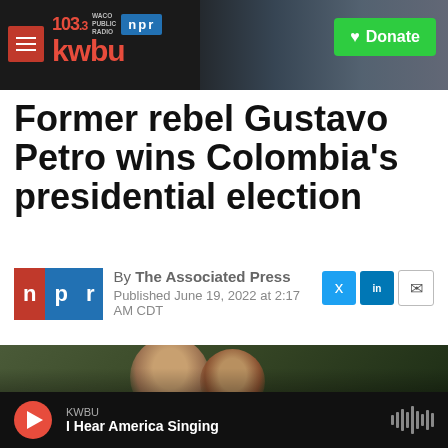103.3 KWBU WACO PUBLIC RADIO | npr | Donate
Former rebel Gustavo Petro wins Colombia's presidential election
By The Associated Press
Published June 19, 2022 at 2:17 AM CDT
[Figure (photo): Photograph of people at Colombia presidential election event]
KWBU | I Hear America Singing